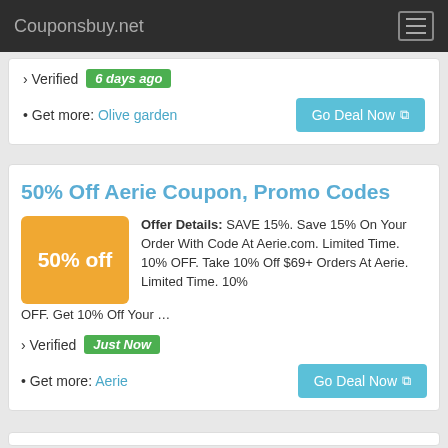Couponsbuy.net
› Verified 6 days ago
• Get more: Olive garden    Go Deal Now
50% Off Aerie Coupon, Promo Codes
Offer Details: SAVE 15%. Save 15% On Your Order With Code At Aerie.com. Limited Time. 10% OFF. Take 10% Off $69+ Orders At Aerie. Limited Time. 10% OFF. Get 10% Off Your …
› Verified Just Now
• Get more: Aerie    Go Deal Now